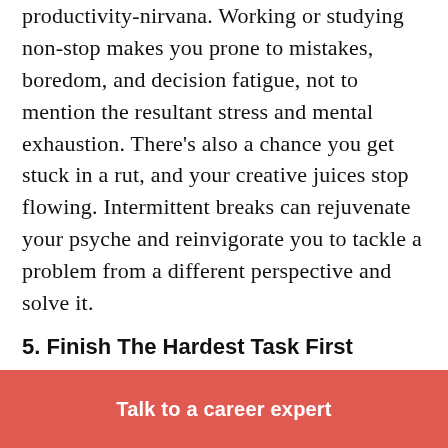productivity-nirvana. Working or studying non-stop makes you prone to mistakes, boredom, and decision fatigue, not to mention the resultant stress and mental exhaustion. There's also a chance you get stuck in a rut, and your creative juices stop flowing. Intermittent breaks can rejuvenate your psyche and reinvigorate you to tackle a problem from a different perspective and solve it.
5. Finish The Hardest Task First
Talk to a career expert